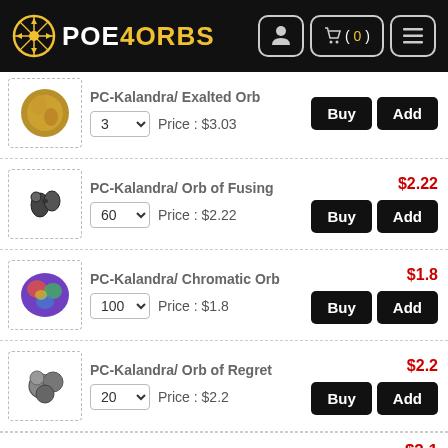POE4ORBS — navigation header with user, cart (0), and menu icons
PC-Kalandra/ Exalted Orb — qty: 3 — Price: $3.03
PC-Kalandra/ Orb of Fusing — qty: 60 — Price: $2.22
PC-Kalandra/ Chromatic Orb — qty: 100 — Price: $1.8
PC-Kalandra/ Orb of Regret — qty: 20 — Price: $2.2